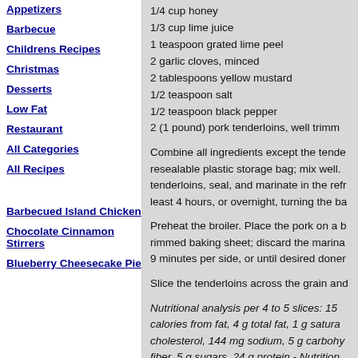Appetizers
Barbecue
Childrens Recipes
Christmas
Desserts
Low Fat
Restaurant
All Categories
All Recipes
Barbecued Island Chicken
Chocolate Cinnamon Stirrers
Blueberry Cheesecake Pie
1/4 cup honey
1/3 cup lime juice
1 teaspoon grated lime peel
2 garlic cloves, minced
2 tablespoons yellow mustard
1/2 teaspoon salt
1/2 teaspoon black pepper
2 (1 pound) pork tenderloins, well trimm
Combine all ingredients except the tende resealable plastic storage bag; mix well. tenderloins, seal, and marinate in the refr least 4 hours, or overnight, turning the ba
Preheat the broiler. Place the pork on a b rimmed baking sheet; discard the marina 9 minutes per side, or until desired doner
Slice the tenderloins across the grain and
Nutritional analysis per 4 to 5 slices: 15 calories from fat, 4 g total fat, 1 g satura cholesterol, 144 mg sodium, 5 g carbohy fiber, 5 g sugars, 24 g protein - Nutrition compliments of the American Diabetes A